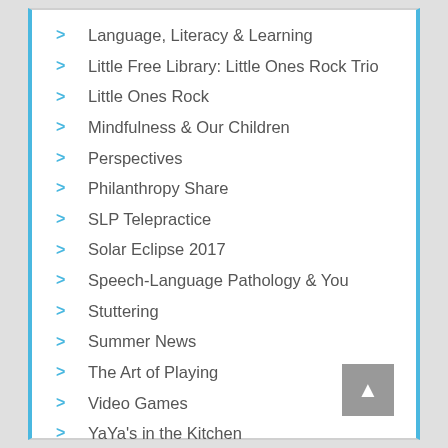Language, Literacy & Learning
Little Free Library: Little Ones Rock Trio
Little Ones Rock
Mindfulness & Our Children
Perspectives
Philanthropy Share
SLP Telepractice
Solar Eclipse 2017
Speech-Language Pathology & You
Stuttering
Summer News
The Art of Playing
Video Games
YaYa's in the Kitchen